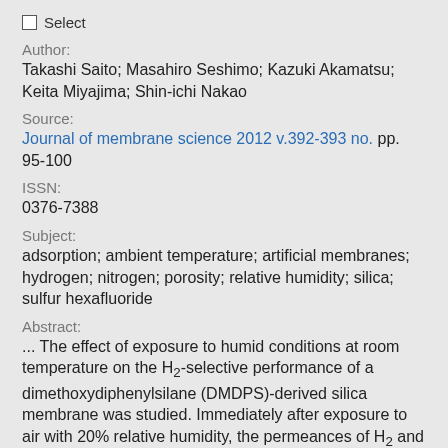Select
Author:
Takashi Saito; Masahiro Seshimo; Kazuki Akamatsu; Keita Miyajima; Shin-ichi Nakao
Source:
Journal of membrane science 2012 v.392-393 no. pp. 95-100
ISSN:
0376-7388
Subject:
adsorption; ambient temperature; artificial membranes; hydrogen; nitrogen; porosity; relative humidity; silica; sulfur hexafluoride
Abstract:
... The effect of exposure to humid conditions at room temperature on the H2-selective performance of a dimethoxydiphenylsilane (DMDPS)-derived silica membrane was studied. Immediately after exposure to air with 20% relative humidity, the permeances of H2 and N2 decreased drastically, although they were restored to about that of 35...